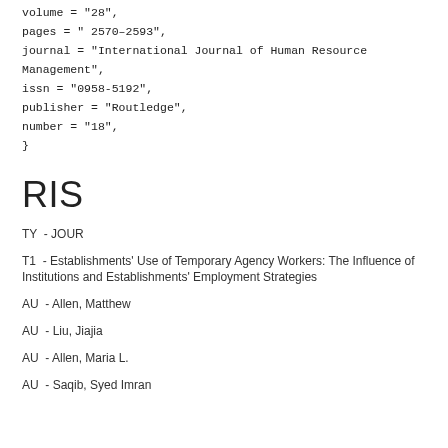volume = "28",
pages = " 2570–2593",
journal = "International Journal of Human Resource Management",
issn = "0958-5192",
publisher = "Routledge",
number = "18",
}
RIS
TY  - JOUR
T1  - Establishments' Use of Temporary Agency Workers: The Influence of Institutions and Establishments' Employment Strategies
AU  - Allen, Matthew
AU  - Liu, Jiajia
AU  - Allen, Maria L.
AU  - Saqib, Syed Imran